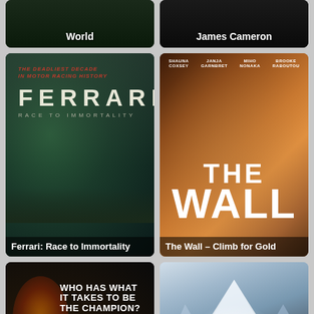[Figure (photo): Partially visible movie poster top-left with text 'World' at bottom]
[Figure (photo): Partially visible movie poster top-right with text 'James Cameron' at bottom]
[Figure (photo): Ferrari: Race to Immortality movie poster - dark stormy sky with racing car on track, tagline 'The deadliest decade in motor racing history']
Ferrari: Race to Immortality
[Figure (photo): The Wall - Climb for Gold movie poster - female climbers on wall, orange tones, names Shauna Coxsey, Janja Garnbret, Miho Nonaka, Brooke Raboutou at top]
The Wall – Climb for Gold
[Figure (photo): Champion movie poster - fighter with fire effect, text 'Who has what it takes to be the champion?']
[Figure (photo): Mountain movie poster - dramatic mountain peaks with snow and mist, title MOUNTAIN in black letters]